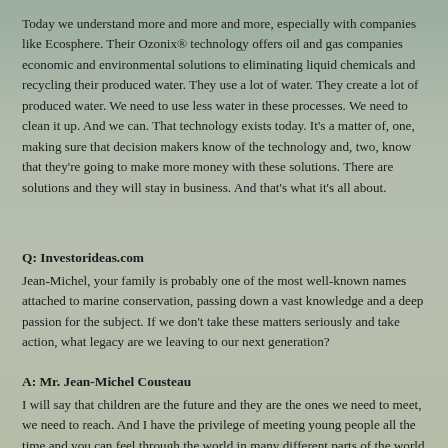Today we understand more and more and more, especially with companies like Ecosphere. Their Ozonix® technology offers oil and gas companies economic and environmental solutions to eliminating liquid chemicals and recycling their produced water. They use a lot of water. They create a lot of produced water. We need to use less water in these processes. We need to clean it up. And we can. That technology exists today. It's a matter of, one, making sure that decision makers know of the technology and, two, know that they're going to make more money with these solutions. There are solutions and they will stay in business. And that's what it's all about.
Q: Investorideas.com
Jean-Michel, your family is probably one of the most well-known names attached to marine conservation, passing down a vast knowledge and a deep passion for the subject. If we don't take these matters seriously and take action, what legacy are we leaving to our next generation?
A: Mr. Jean-Michel Cousteau
I will say that children are the future and they are the ones we need to meet, we need to reach. And I have the privilege of meeting young people all the time and you can feel through the world in many different parts of the world how